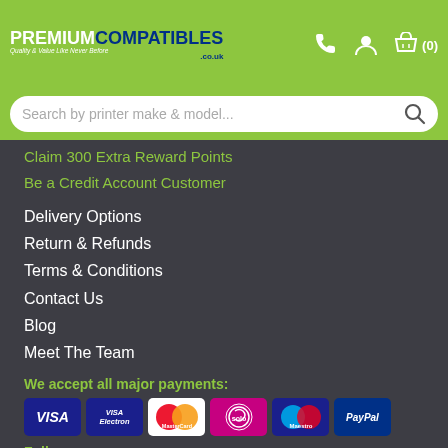[Figure (logo): Premium Compatibles logo with green background, white and blue text, tagline 'Quality & Value Like Never Before', phone icon, user icon, basket icon with (0)]
[Figure (screenshot): Search bar with placeholder 'Search by printer make & model...' and search icon]
Claim 300 Extra Reward Points
Be a Credit Account Customer
Delivery Options
Return & Refunds
Terms & Conditions
Contact Us
Blog
Meet The Team
We accept all major payments:
[Figure (infographic): Payment method icons: Visa, Visa Electron, MasterCard, Solo, Maestro, PayPal]
Follow us on:
[Figure (infographic): Social media icons: Twitter (blue bird), Facebook (blue f), and a teal scroll-to-top button with chevron]